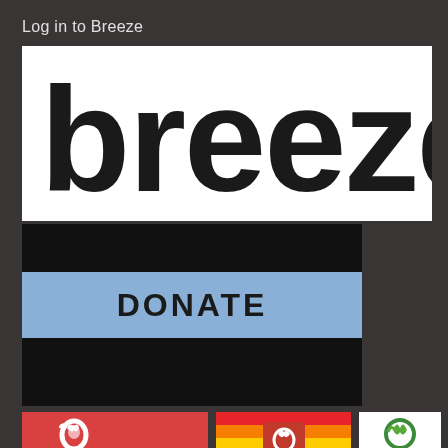Log in to Breeze
[Figure (logo): Breeze logo - bold lowercase 'breeze' wordmark in black on white background]
[Figure (screenshot): Donate button - light blue button with 'DONATE' text in black on dark/black background panel]
[Figure (logo): Unitarian Universalist logo - white chalice icon with 'UNITARIAN' text on red background]
[Figure (logo): UU Pride / LGBTQ logo with rainbow flag and UU chalice symbol]
[Figure (logo): Green sanctuary logo with leaf/chalice icon on white background]